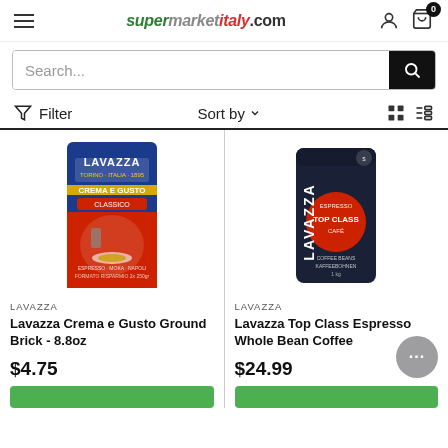supermarketitaly.com
Search...
Filter   Sort by
[Figure (photo): Lavazza Crema e Gusto Ground Brick 8.8oz coffee package - blue and red packaging]
LAVAZZA
Lavazza Crema e Gusto Ground Brick - 8.8oz
$4.75
[Figure (photo): Lavazza Top Class Espresso Whole Bean Coffee - dark navy bag with red circle]
LAVAZZA
Lavazza Top Class Espresso Whole Bean Coffee
$24.99